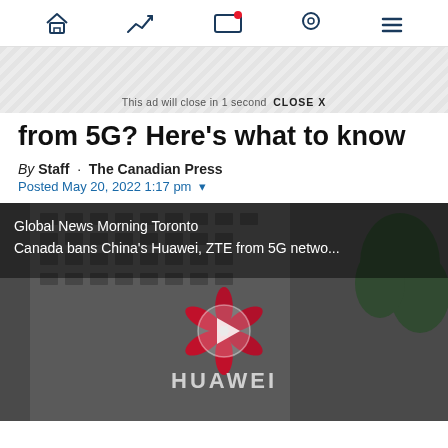Navigation bar with home, trending, notifications, location, and menu icons
This ad will close in 1 second  CLOSE X
from 5G? Here's what to know
By Staff · The Canadian Press
Posted May 20, 2022 1:17 pm ▾
[Figure (screenshot): Video thumbnail showing Huawei building with logo. Overlay text reads: 'Global News Morning Toronto / Canada bans China's Huawei, ZTE from 5G netwo...' with a play button in the center.]